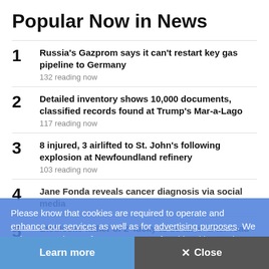Popular Now in News
1 Russia's Gazprom says it can't restart key gas pipeline to Germany
132 reading now
2 Detailed inventory shows 10,000 documents, classified records found at Trump's Mar-a-Lago
117 reading now
3 8 injured, 3 airlifted to St. John's following explosion at Newfoundland refinery
103 reading now
4 Jane Fonda reveals cancer diagnosis via social media
5 Etobicoke father of 2 'lucky to be alive' after road rage incident left him severely injured
62 reading now
Please know that cookies are required to operate and enhance our services as well as for advertising purposes. We value your privacy. If you are not comfortable with us using this information, please review your settings before continuing your visit.
Learn more   ✕ Close